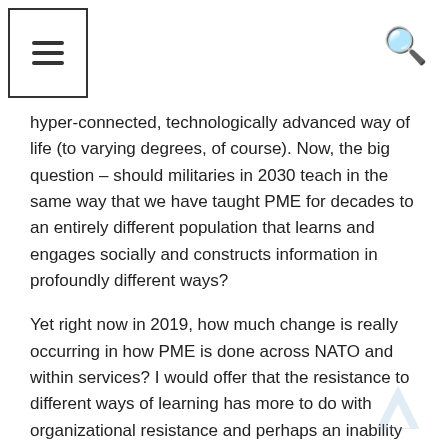☰  🔍
hyper-connected, technologically advanced way of life (to varying degrees, of course). Now, the big question – should militaries in 2030 teach in the same way that we have taught PME for decades to an entirely different population that learns and engages socially and constructs information in profoundly different ways?
Yet right now in 2019, how much change is really occurring in how PME is done across NATO and within services? I would offer that the resistance to different ways of learning has more to do with organizational resistance and perhaps an inability to move with the times and accept novel practices than any argument that millennials might still learn exactly the same as Gen X or other generations. So just using that education example, we still are predisposed to do as Karl Weick argued on how we socially construct reality and distort history. We